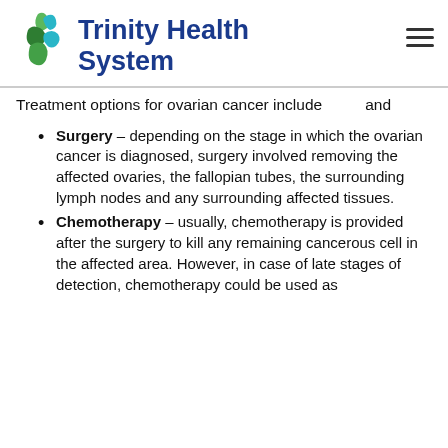[Figure (logo): Trinity Health System logo with green and teal cross/bird icon and dark blue bold text]
Treatment options for ovarian cancer include and
Surgery – depending on the stage in which the ovarian cancer is diagnosed, surgery involved removing the affected ovaries, the fallopian tubes, the surrounding lymph nodes and any surrounding affected tissues.
Chemotherapy – usually, chemotherapy is provided after the surgery to kill any remaining cancerous cell in the affected area. However, in case of late stages of detection, chemotherapy could be used as